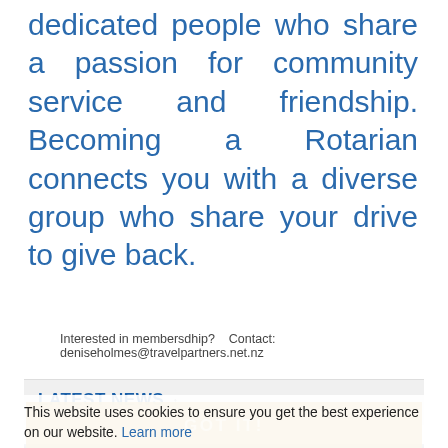dedicated people who share a passion for community service and friendship. Becoming a Rotarian connects you with a diverse group who share your drive to give back.
Interested in membersdhip?   Contact: deniseholmes@travelpartners.net.nz
LATEST NEWS
This website uses cookies to ensure you get the best experience on our website. Learn more
[Figure (photo): Photo of a group of people outdoors, partially obscured by cookie/GOT IT overlay]